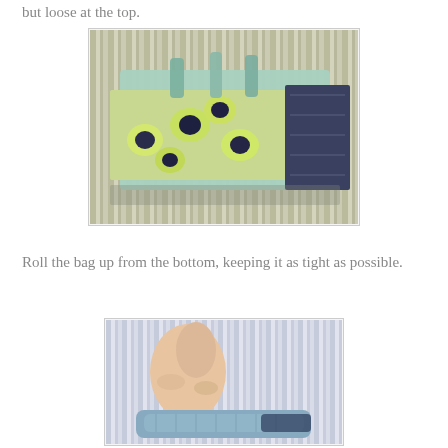but loose at the top.
[Figure (photo): A fabric bag with floral green and black pattern and geometric navy pattern laid flat on a striped surface, showing the top opening.]
Roll the bag up from the bottom, keeping it as tight as possible.
[Figure (photo): A person's hands rolling up a light blue fabric bag from the bottom, on a striped background.]